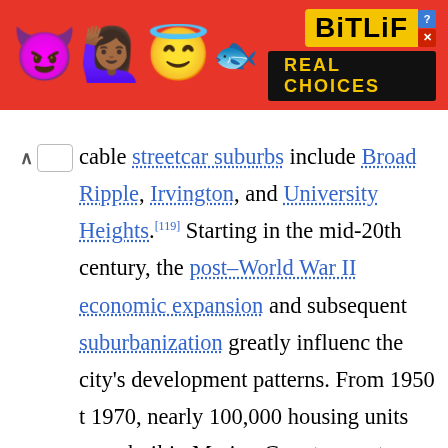[Figure (other): BitLife advertisement banner with red background, emoji characters (devil, person with raised hands, angel emoji, sperm emoji), BitLife logo in yellow, and 'REAL CHOICES' text in black banner]
able streetcar suburbs include Broad Ripple, Irvington, and University Heights.[119] Starting in the mid-20th century, the post–World War II economic expansion and subsequent suburbanization greatly influenced the city's development patterns. From 1950 to 1970, nearly 100,000 housing units were built in Marion County, most outside Center Township in suburban neighborhoods such a